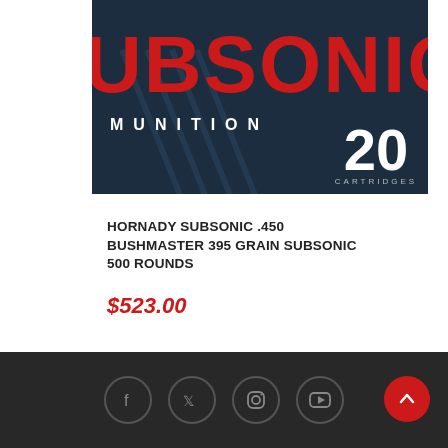[Figure (photo): Hornady Subsonic ammunition box close-up showing SUBSONIC in red letters, MUNITION text below, and '20 CARTRIDGES' on dark navy blue background]
HORNADY SUBSONIC .450 BUSHMASTER 395 GRAIN SUBSONIC 500 ROUNDS
$523.00
Social media icons: Facebook, Twitter, Instagram, YouTube. Back to top button.